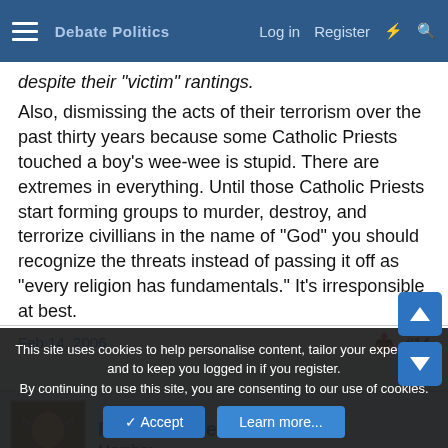Debate Politics — Log in  Register
despite their "victim" rantings.
Also, dismissing the acts of their terrorism over the past thirty years because some Catholic Priests touched a boy's wee-wee is stupid. There are extremes in everything. Until those Catholic Priests start forming groups to murder, destroy, and terrorize civillians in the name of "God" you should recognize the threats instead of passing it off as "every religion has fundamentals." It's irresponsible at best.
Last edited: Feb 14, 2006
Datamonkee
Member
Feb 14, 2006	#14
This site uses cookies to help personalise content, tailor your experience and to keep you logged in if you register.
By continuing to use this site, you are consenting to our use of cookies.